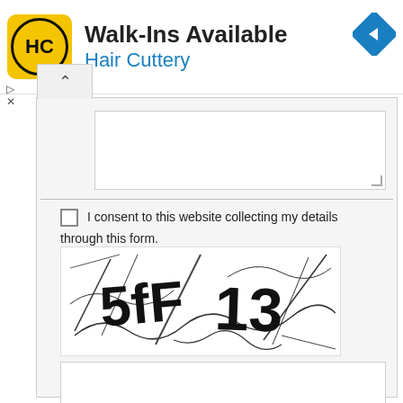[Figure (screenshot): Hair Cuttery advertisement banner with yellow logo showing HC monogram in circle, text 'Walk-Ins Available' and 'Hair Cuttery' in blue, and a blue diamond navigation icon on the right]
[Figure (screenshot): Web form UI showing a text area, consent checkbox with text 'I consent to this website collecting my details through this form.', a CAPTCHA image showing distorted text '5fF13', a text input field for CAPTCHA entry, and three buttons: Preview, Send, Reset]